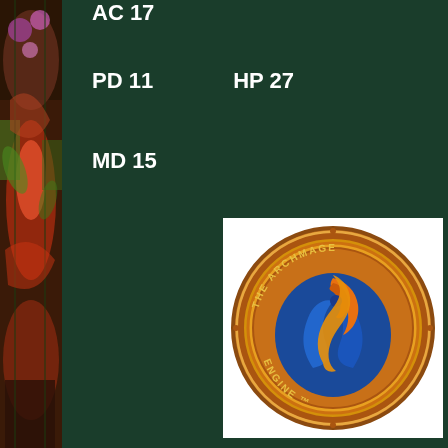AC 17
PD  11          HP 27
MD 15
[Figure (illustration): The Archmage Engine logo: a gold coin with decorative border featuring a blue and orange flame/serpent design in the center, with text reading 'THE ARCHMAGE ENGINE' around the inner ring]
[Figure (illustration): Left side decorative art strip showing colorful fantasy illustration with figures]